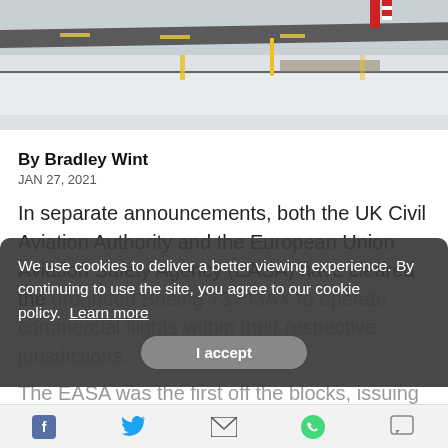[Figure (photo): Aerial/ground view of a snowy airport runway with yellow markers and signage, gray winter sky]
By Bradley Wint
JAN 27, 2021
In separate announcements, both the UK Civil Aviation Authority and the European Union Aviation Safety Agency (EASA) have cleared the grounded Boeing 737 MAX to operate commercial flights within their respective jurisdictions.
We use cookies to deliver a better viewing experience. By continuing to use the site, you agree to our cookie policy.  Learn more
I accept
The EASA was the first off the blocks, issuing their airworthiness directive (AD), requiring a